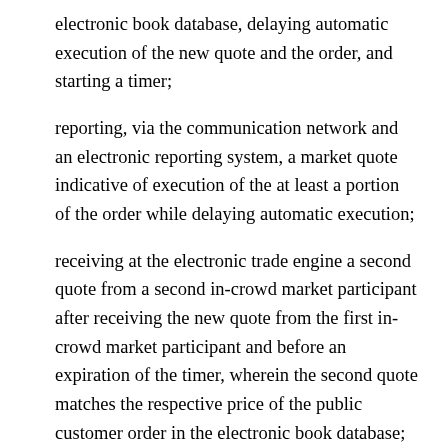electronic book database, delaying automatic execution of the new quote and the order, and starting a timer;
reporting, via the communication network and an electronic reporting system, a market quote indicative of execution of the at least a portion of the order while delaying automatic execution;
receiving at the electronic trade engine a second quote from a second in-crowd market participant after receiving the new quote from the first in-crowd market participant and before an expiration of the timer, wherein the second quote matches the respective price of the public customer order in the electronic book database; and